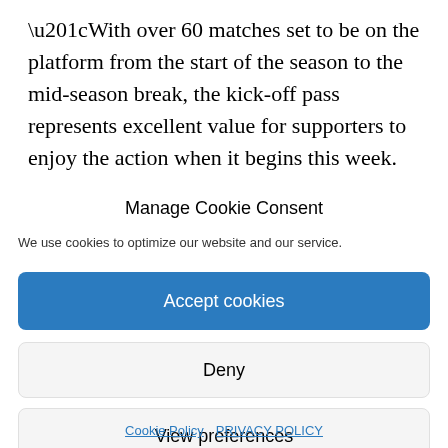“With over 60 matches set to be on the platform from the start of the season to the mid-season break, the kick-off pass represents excellent value for supporters to enjoy the action when it begins this week.
Manage Cookie Consent
We use cookies to optimize our website and our service.
Accept cookies
Deny
View preferences
Cookie Policy   PRIVACY POLICY